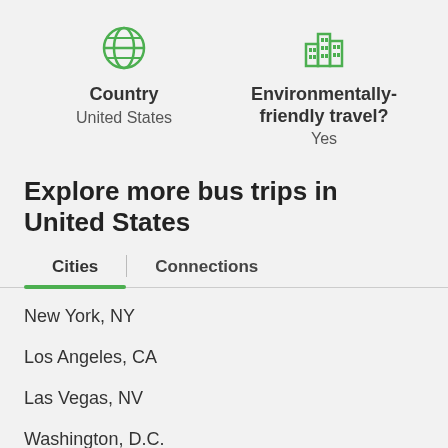[Figure (infographic): Green globe icon representing Country]
Country
United States
[Figure (infographic): Green city/buildings icon representing Environmentally-friendly travel]
Environmentally-friendly travel?
Yes
Explore more bus trips in United States
Cities | Connections
New York, NY
Los Angeles, CA
Las Vegas, NV
Washington, D.C.
Orlando, FL
Miami, FL